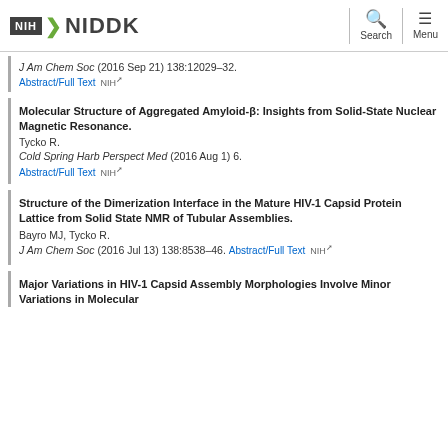NIH NIDDK
J Am Chem Soc (2016 Sep 21) 138:12029-32. Abstract/Full Text NIH
Molecular Structure of Aggregated Amyloid-β: Insights from Solid-State Nuclear Magnetic Resonance. Tycko R. Cold Spring Harb Perspect Med (2016 Aug 1) 6. Abstract/Full Text NIH
Structure of the Dimerization Interface in the Mature HIV-1 Capsid Protein Lattice from Solid State NMR of Tubular Assemblies. Bayro MJ, Tycko R. J Am Chem Soc (2016 Jul 13) 138:8538-46. Abstract/Full Text NIH
Major Variations in HIV-1 Capsid Assembly Morphologies Involve Minor Variations in Molecular...